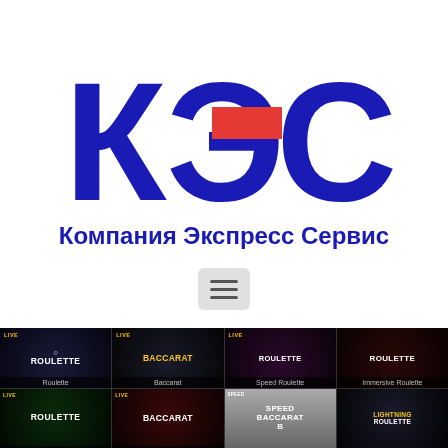[Figure (logo): КЭС logo — large Cyrillic letters К, Э, С in dark navy blue with a red rectangle accent in the middle, above the text Компания Экспресс Сервис]
Компания Экспресс Сервис
[Figure (other): Hamburger menu button (three horizontal lines) inside a rounded grey box]
+7 (925) 837 82 25
Обратный звонок
[Figure (screenshot): Bottom strip showing online casino game thumbnails in two rows: Row 1: Live Roulette, Live Baccarat, Speed Roulette, Immersive Roulette; Row 2: Live Roulette, Baccarat, Speed Baccarat B, Lightning Roulette]